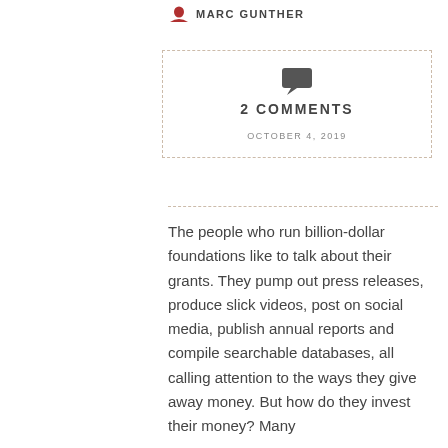MARC GUNTHER
[Figure (infographic): Dashed-border box with comment speech bubble icon, '2 COMMENTS' text, and date 'OCTOBER 4, 2019']
The people who run billion-dollar foundations like to talk about their grants. They pump out press releases, produce slick videos, post on social media, publish annual reports and compile searchable databases, all calling attention to the ways they give away money. But how do they invest their money? Many